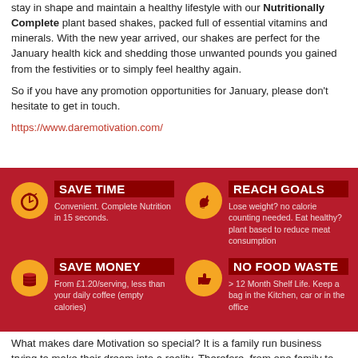stay in shape and maintain a healthy lifestyle with our Nutritionally Complete plant based shakes, packed full of essential vitamins and minerals. With the new year arrived, our shakes are perfect for the January health kick and shedding those unwanted pounds you gained from the festivities or to simply feel healthy again.
So if you have any promotion opportunities for January, please don't hesitate to get in touch.
https://www.daremotivation.com/
[Figure (infographic): Red background infographic with 4 quadrants: Save Time (stopwatch icon, Convenient, Complete Nutrition in 15 seconds), Reach Goals (flexing arm icon, Lose weight? no calorie counting needed. Eat healthy? plant based to reduce meat consumption), Save Money (coins icon, From £1.20/serving, less than your daily coffee (empty calories)), No Food Waste (thumbs up icon, > 12 Month Shelf Life. Keep a bag in the Kitchen, car or in the office)]
What makes dare Motivation so special? It is a family run business trying to make their dream into a reality. Therefore, from one family to another, dare i...